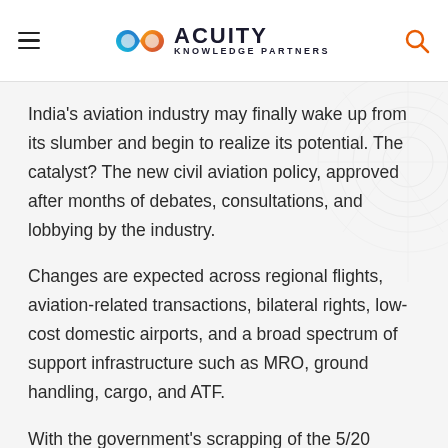Acuity Knowledge Partners
India's aviation industry may finally wake up from its slumber and begin to realize its potential. The catalyst? The new civil aviation policy, approved after months of debates, consultations, and lobbying by the industry.
Changes are expected across regional flights, aviation-related transactions, bilateral rights, low-cost domestic airports, and a broad spectrum of support infrastructure such as MRO, ground handling, cargo, and ATF.
With the government's scrapping of the 5/20